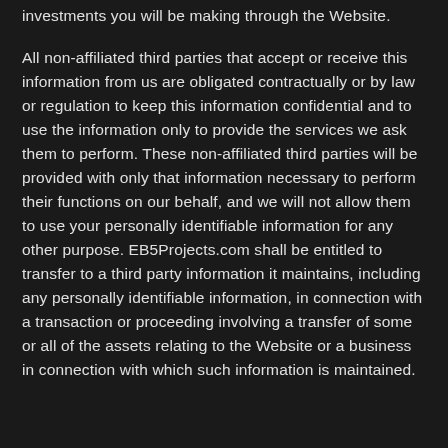investments you will be making through the Website.
All non-affiliated third parties that accept or receive this information from us are obligated contractually or by law or regulation to keep this information confidential and to use the information only to provide the services we ask them to perform. These non-affiliated third parties will be provided with only that information necessary to perform their functions on our behalf, and we will not allow them to use your personally identifiable information for any other purpose. EB5Projects.com shall be entitled to transfer to a third party information it maintains, including any personally identifiable information, in connection with a transaction or proceeding involving a transfer of some or all of the assets relating to the Website or a business in connection with which such information is maintained.